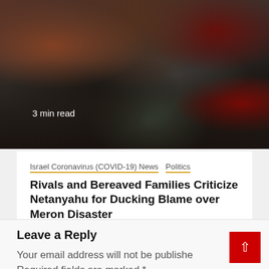[Figure (photo): Crowd of people at a news event, showing journalists and attendees, some with cameras and red clothing visible]
3 min read
Israel Coronavirus (COVID-19) News  Politics
Rivals and Bereaved Families Criticize Netanyahu for Ducking Blame over Meron Disaster
1 month ago  Online Israel News
Leave a Reply
Your email address will not be published. Required fields are marked *
Comment *